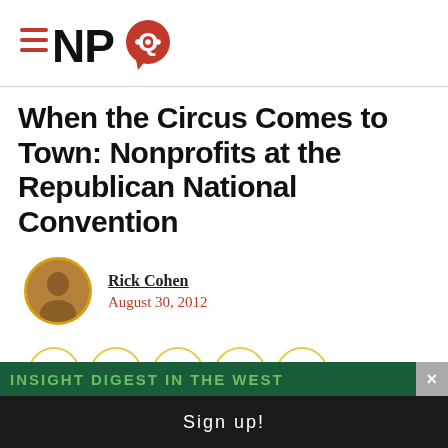NPQ
When the Circus Comes to Town: Nonprofits at the Republican National Convention
Rick Cohen
August 30, 2012
[Figure (other): Social share buttons: Facebook, Twitter, LinkedIn, Email, Save]
INSIGHT DIGEST IN THE WEST
Sign up!